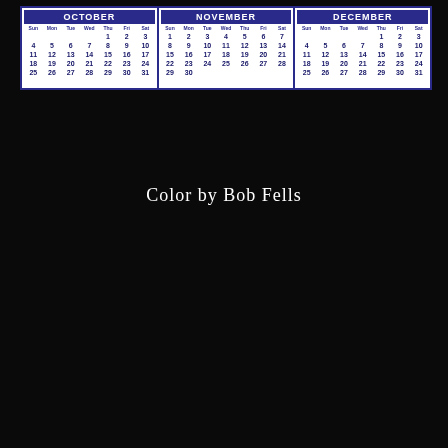[Figure (other): Three-month calendar strip showing October, November, December on a dark background with 'Color by Bob Fells' credit text below]
Color by Bob Fells
[Figure (photo): Colorized vintage photograph of a woman wearing a pink/lavender cloche hat and a man in a dark suit, both smiling and looking down, in a classic 1920s-1930s style]